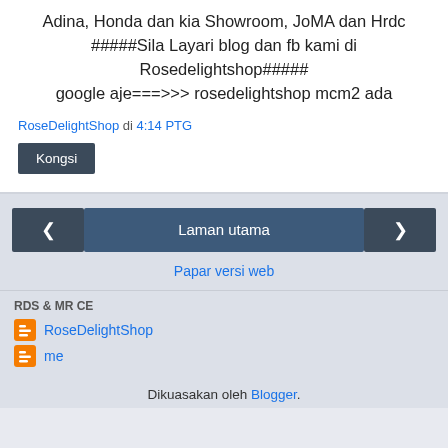Adina, Honda dan kia Showroom, JoMA dan Hrdc #####Sila Layari blog dan fb kami di Rosedelightshop##### google aje===>>> rosedelightshop mcm2 ada
RoseDelightShop di 4:14 PTG
Kongsi
‹   Laman utama   ›
Papar versi web
RDS & MR CE
RoseDelightShop
me
Dikuasakan oleh Blogger.